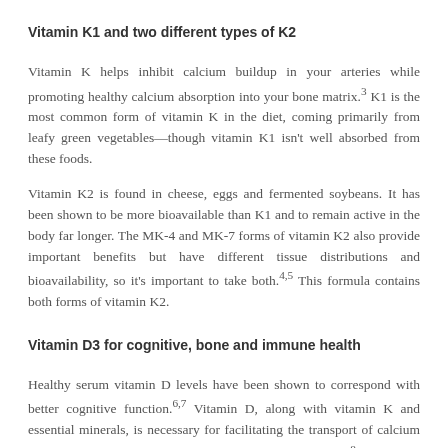Vitamin K1 and two different types of K2
Vitamin K helps inhibit calcium buildup in your arteries while promoting healthy calcium absorption into your bone matrix.3 K1 is the most common form of vitamin K in the diet, coming primarily from leafy green vegetables—though vitamin K1 isn't well absorbed from these foods.
Vitamin K2 is found in cheese, eggs and fermented soybeans. It has been shown to be more bioavailable than K1 and to remain active in the body far longer. The MK-4 and MK-7 forms of vitamin K2 also provide important benefits but have different tissue distributions and bioavailability, so it's important to take both.4,5 This formula contains both forms of vitamin K2.
Vitamin D3 for cognitive, bone and immune health
Healthy serum vitamin D levels have been shown to correspond with better cognitive function.6,7 Vitamin D, along with vitamin K and essential minerals, is necessary for facilitating the transport of calcium into the bone matrix for strong, healthy bones and teeth.8 Vitamin D also plays a critical role in healthy immune function.9